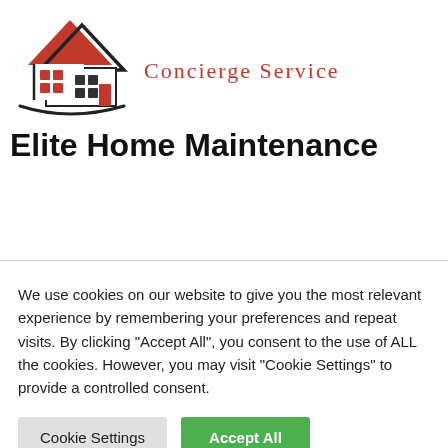[Figure (logo): Elite Home Maintenance logo: two house silhouettes (one red roof, one black roof overlapping), with windows in red, a door, and a curved black underline/ground line forming a swoosh.]
Concierge Service
Elite Home Maintenance
We use cookies on our website to give you the most relevant experience by remembering your preferences and repeat visits. By clicking "Accept All", you consent to the use of ALL the cookies. However, you may visit "Cookie Settings" to provide a controlled consent.
Cookie Settings
Accept All